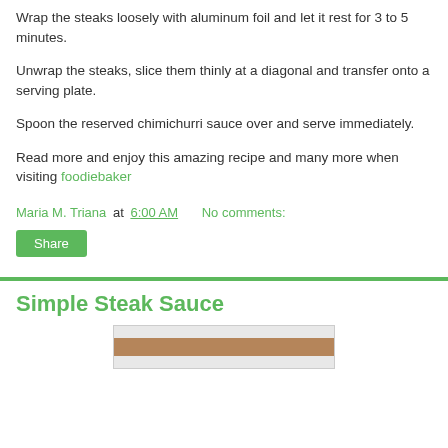Wrap the steaks loosely with aluminum foil and let it rest for 3 to 5 minutes.
Unwrap the steaks, slice them thinly at a diagonal and transfer onto a serving plate.
Spoon the reserved chimichurri sauce over and serve immediately.
Read more and enjoy this amazing recipe and many more when visiting foodiebaker
Maria M. Triana at 6:00 AM   No comments:
Share
Simple Steak Sauce
[Figure (photo): Partial image visible at bottom of page, appears to be a food photo]